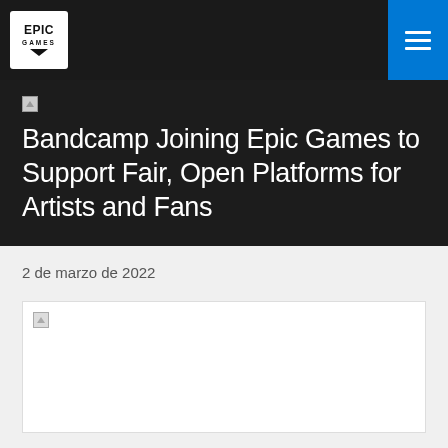Epic Games
Bandcamp Joining Epic Games to Support Fair, Open Platforms for Artists and Fans
2 de marzo de 2022
[Figure (photo): Article hero image placeholder (broken image)]